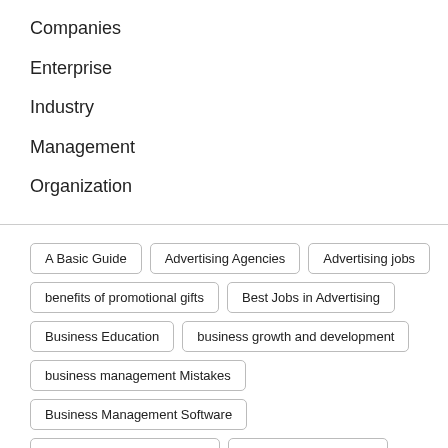Companies
Enterprise
Industry
Management
Organization
A Basic Guide
Advertising Agencies
Advertising jobs
benefits of promotional gifts
Best Jobs in Advertising
Business Education
business growth and development
business management Mistakes
Business Management Software
Business Management Tips
Business Organisation
Business Plans
business promotions strategy
Business Set-Ups
Business Set-Up types